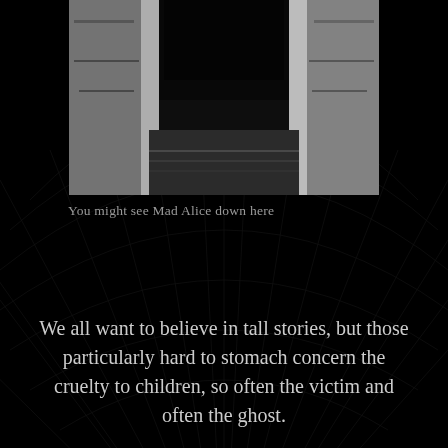[Figure (photo): Black and white photograph of an open doorway leading into a dark corridor or tunnel, with white door frames on either side and a dark floor.]
You might see Mad Alice down here
We all want to believe in tall stories, but those particularly hard to stomach concern the cruelty to children, so often the victim and often the ghost.